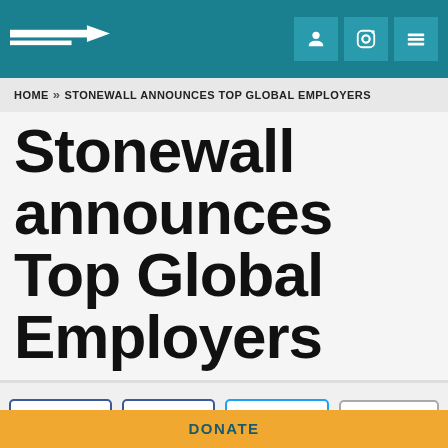[Figure (logo): Stonewall logo with arrow on teal navigation bar background]
HOME >> STONEWALL ANNOUNCES TOP GLOBAL EMPLOYERS
Stonewall announces Top Global Employers
[Figure (infographic): Social sharing buttons: Facebook SHARE, Facebook SEND, Twitter SHARE, Email]
13 companies commended by Stonewall for efforts to create
DONATE